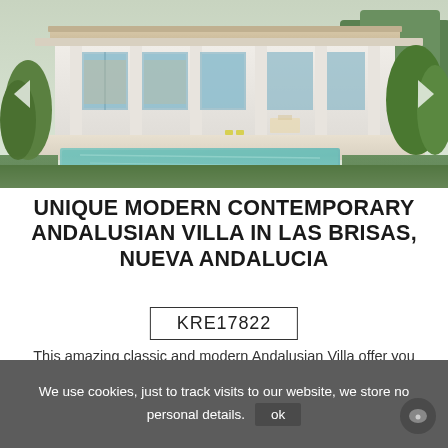[Figure (photo): Exterior rendering of a modern Andalusian villa with a swimming pool, white facade with columns, large glass windows, garden and greenery]
UNIQUE MODERN CONTEMPORARY ANDALUSIAN VILLA IN LAS BRISAS, NUEVA ANDALUCIA
KRE17822
This amazing classic and modern Andalusian Villa offer you privacy and views, with an elevated location in the ...
We use cookies, just to track visits to our website, we store no personal details. ok